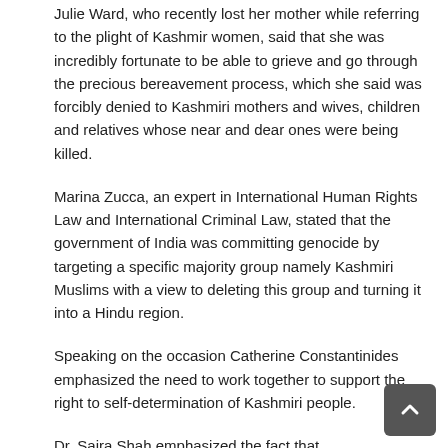Julie Ward, who recently lost her mother while referring to the plight of Kashmir women, said that she was incredibly fortunate to be able to grieve and go through the precious bereavement process, which she said was forcibly denied to Kashmiri mothers and wives, children and relatives whose near and dear ones were being killed.
Marina Zucca, an expert in International Human Rights Law and International Criminal Law, stated that the government of India was committing genocide by targeting a specific majority group namely Kashmiri Muslims with a view to deleting this group and turning it into a Hindu region.
Speaking on the occasion Catherine Constantinides emphasized the need to work together to support the right to self-determination of Kashmiri people.
Dr. Saira Shah emphasized the fact that Kashmiris were suffering immensely at the hands of occupying authorities. Regarding sexual violence and its effect on mental health she said that the occupying power's practice of stripping women naked was described as a systemic policy which negatively affect a woman sense of self and